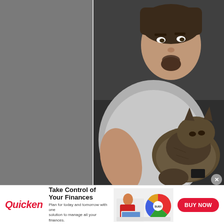[Figure (photo): Left panel: gray rectangle placeholder area on the left side of the page]
[Figure (photo): Photo of a man in a gray t-shirt sitting on a dark couch with a fluffy tabby cat resting on his lap/chest. The man has dark hair and a goatee.]
[Figure (infographic): Quicken advertisement banner. Logo: 'Quicken' in red italic bold. Headline: 'Take Control of Your Finances'. Subtext: 'Plan for today and tomorrow with one solution to manage all your finances.' Image shows a woman in red top working on a laptop with a colorful pie chart graphic. CTA button: 'BUY NOW' in red pill-shaped button.]